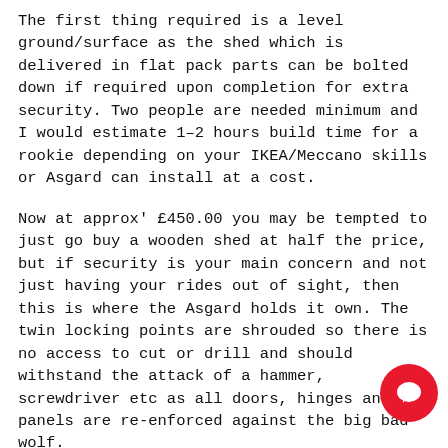The first thing required is a level ground/surface as the shed which is delivered in flat pack parts can be bolted down if required upon completion for extra security. Two people are needed minimum and I would estimate 1–2 hours build time for a rookie depending on your IKEA/Meccano skills or Asgard can install at a cost.
Now at approx' £450.00 you may be tempted to just go buy a wooden shed at half the price, but if security is your main concern and not just having your rides out of sight, then this is where the Asgard holds it own. The twin locking points are shrouded so there is no access to cut or drill and should withstand the attack of a hammer, screwdriver etc as all doors, hinges and panels are re-enforced against the big bad wolf.
Also, being galvanised steel (no repainting or rotting) will hold up against the elements well as our original three-year-old unit provided by Transport for London